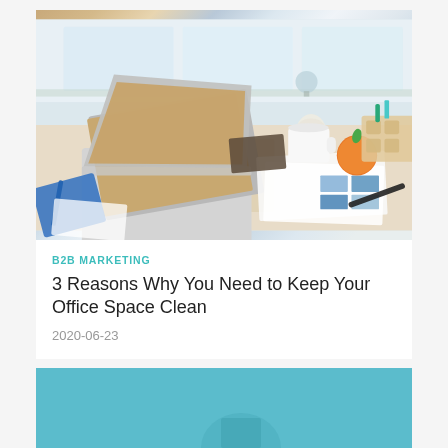[Figure (photo): Messy office desk with an open laptop, coffee cup, orange/tangerine, papers, blue color swatches, pens, and notebooks scattered around. Bright window in background.]
B2B MARKETING
3 Reasons Why You Need to Keep Your Office Space Clean
2020-06-23
[Figure (photo): Partial view of a second article card with a teal/blue background, partially cut off at bottom of page.]